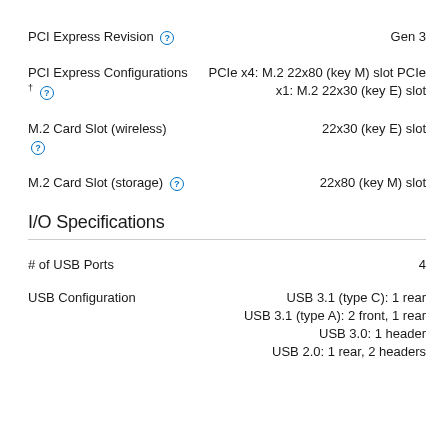| Specification | Value |
| --- | --- |
| PCI Express Revision | Gen 3 |
| PCI Express Configurations | PCIe x4: M.2 22x80 (key M) slot PCIe x1: M.2 22x30 (key E) slot |
| M.2 Card Slot (wireless) | 22x30 (key E) slot |
| M.2 Card Slot (storage) | 22x80 (key M) slot |
I/O Specifications
| Specification | Value |
| --- | --- |
| # of USB Ports | 4 |
| USB Configuration | USB 3.1 (type C): 1 rear
USB 3.1 (type A): 2 front, 1 rear
USB 3.0: 1 header
USB 2.0: 1 rear, 2 headers |